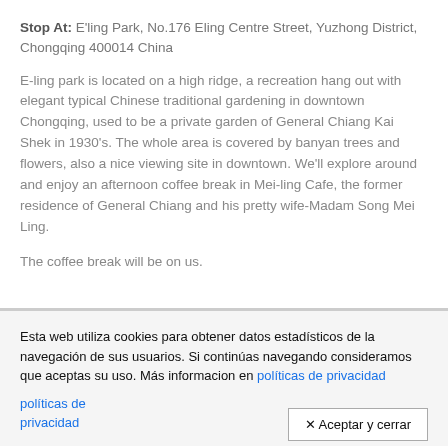Stop At: E'ling Park, No.176 Eling Centre Street, Yuzhong District, Chongqing 400014 China
E-ling park is located on a high ridge, a recreation hang out with elegant typical Chinese traditional gardening in downtown Chongqing, used to be a private garden of General Chiang Kai Shek in 1930's. The whole area is covered by banyan trees and flowers, also a nice viewing site in downtown. We'll explore around and enjoy an afternoon coffee break in Mei-ling Cafe, the former residence of General Chiang and his pretty wife-Madam Song Mei Ling.
The coffee break will be on us.
Esta web utiliza cookies para obtener datos estadísticos de la navegación de sus usuarios. Si continúas navegando consideramos que aceptas su uso. Más informacion en políticas de privacidad
✕ Aceptar y cerrar